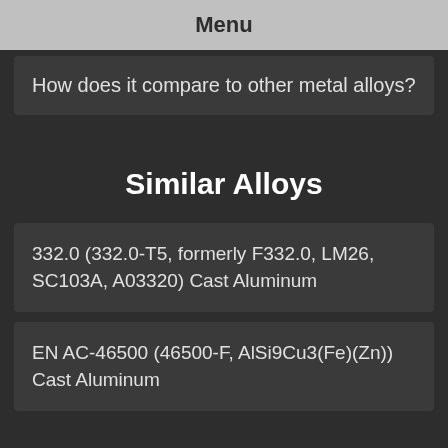Menu
How does it compare to other metal alloys?
Similar Alloys
332.0 (332.0-T5, formerly F332.0, LM26, SC103A, A03320) Cast Aluminum
EN AC-46500 (46500-F, AlSi9Cu3(Fe)(Zn)) Cast Aluminum